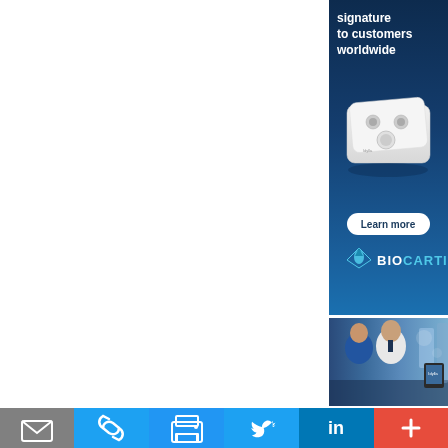[Figure (infographic): Biocartis advertisement banner with dark navy blue background. Top section shows white bold text 'signature to customers worldwide'. Middle section shows a white medical device (compact box with circular ports). Below device is a white 'Learn more' button. Bottom has Biocartis logo with droplet icon, blue 'BIO' and cyan 'CARTIS' text.]
[Figure (photo): Photo of medical professionals - a doctor in white coat and another person in blue scrubs appearing to have a discussion at a table. Medical/lab equipment visible in background. A tablet device visible on right side.]
[Figure (infographic): Bottom toolbar with social sharing icons: email (grey background), link/copy (blue), print (blue), Twitter bird (light blue), LinkedIn (dark blue), plus/more (red-orange).]